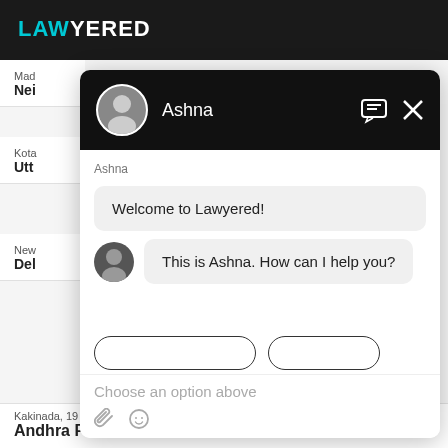[Figure (screenshot): Background website header with 'LAWYERED' logo in teal and white on dark background]
Mad
Nei
Kota
Utt
[Figure (screenshot): Chat widget overlay from Lawyered website showing a chat with Ashna. Header is black with avatar and name 'Ashna', message bubble 'Welcome to Lawyered!', second bubble with avatar 'This is Ashna. How can I help you?', input area showing 'Choose an option above']
Kakinada,  19 Mar, 2022,  (5 months ago)
Andhra Pradesh